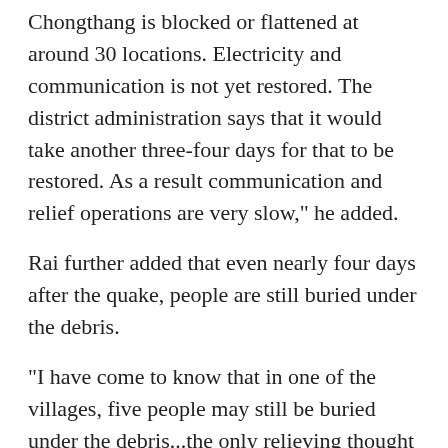Chongthang is blocked or flattened at around 30 locations. Electricity and communication is not yet restored. The district administration says that it would take another three-four days for that to be restored. As a result communication and relief operations are very slow," he added.
Rai further added that even nearly four days after the quake, people are still buried under the debris.
"I have come to know that in one of the villages, five people may still be buried under the debris...the only relieving thought that the survivors in these cut off villages are tribals and know how to survive on wild roots and vegetables...so will be able to sustain," he said.